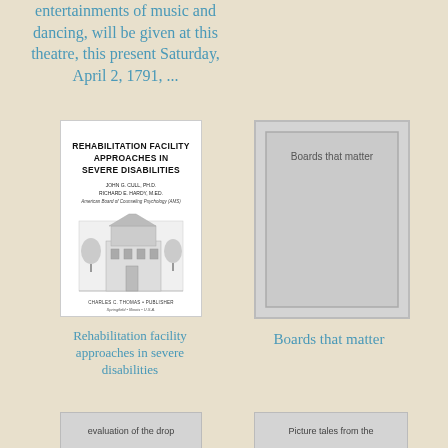entertainments of music and dancing, will be given at this theatre, this present Saturday, April 2, 1791, ...
[Figure (photo): Book cover of 'Rehabilitation Facility Approaches in Severe Disabilities' by John G. Cull, PhD and Richard E. Hardy, MED, published by Charles C. Thomas, with an illustration of a building on the cover.]
[Figure (illustration): Gray placeholder book cover with text 'Boards that matter' centered in the inner frame.]
Rehabilitation facility approaches in severe disabilities
Boards that matter
[Figure (illustration): Gray placeholder book cover with text 'evaluation of the drop' partially visible at bottom.]
[Figure (illustration): Gray placeholder book cover with text 'Picture tales from the' partially visible at bottom.]